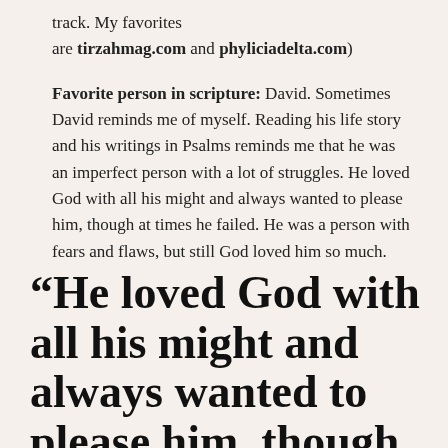track. My favorites are tirzahmag.com and phyliciadelta.com)
Favorite person in scripture: David. Sometimes David reminds me of myself. Reading his life story and his writings in Psalms reminds me that he was an imperfect person with a lot of struggles. He loved God with all his might and always wanted to please him, though at times he failed. He was a person with fears and flaws, but still God loved him so much.
“He loved God with all his might and always wanted to please him, though at